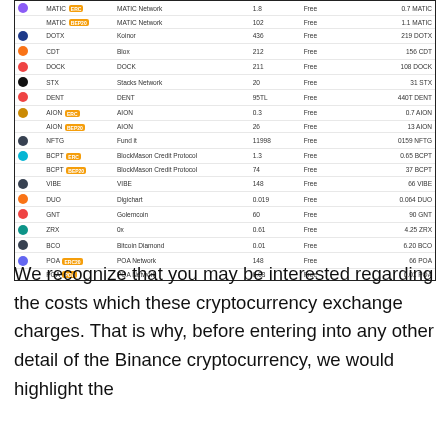|  | Symbol | Network | Min | Fee | Min Withdrawal |
| --- | --- | --- | --- | --- | --- |
| MATIC | ERC | MATIC Network | 1.8 | Free | 0.7 MATIC |
| MATIC | BEP20 | MATIC Network | 102 | Free | 1.1 MATIC |
| DOTX |  | Koinor | 436 | Free | 219 DOTX |
| CDT |  | Blox | 212 | Free | 156 CDT |
| DOCK |  | DOCK | 211 | Free | 108 DOCK |
| STX |  | Stacks Network | 20 | Free | 31 STX |
| DENT |  | DENT | 95TL | Free | 440T DENT |
| AION | ERC | AION | 0.3 | Free | 0.7 AION |
| AION | BEP20 | AION | 26 | Free | 13 AION |
| NFTG |  | Fund it | 11998 | Free | 0159 NFTG |
| BCPT | ERC | BlockMason Credit Protocol | 1.3 | Free | 0.65 BCPT |
| BCPT | BEP20 | BlockMason Credit Protocol | 74 | Free | 37 BCPT |
| VIBE |  | VIBE | 148 | Free | 66 VIBE |
| DUO |  | Digichart | 0.019 | Free | 0.064 DUO |
| GNT |  | Golemcoin | 60 | Free | 90 GNT |
| ZRX |  | 0x | 0.61 | Free | 4.25 ZRX |
| BCO |  | Bitcoin Diamond | 0.01 | Free | 6.20 BCO |
| POA | ERC20 | POA Network | 148 | Free | 66 POA |
| POA | POA | POA Network | 0.03 | Free | 0.01 POA |
We recognize that you may be interested regarding the costs which these cryptocurrency exchange charges. That is why, before entering into any other detail of the Binance cryptocurrency, we would highlight the